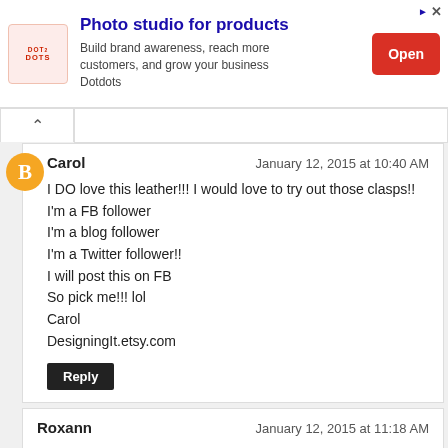[Figure (infographic): Advertisement banner for 'Photo studio for products' by Dotdots with logo, description text, and Open button]
Carol
January 12, 2015 at 10:40 AM
I DO love this leather!!! I would love to try out those clasps!!
I'm a FB follower
I'm a blog follower
I'm a Twitter follower!!
I will post this on FB
So pick me!!! lol
Carol
DesigningIt.etsy.com
Roxann
January 12, 2015 at 11:18 AM
I would love the give away! So many ideas on how to use leather....